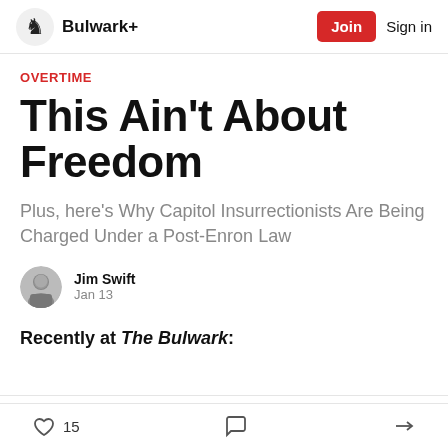Bulwark+  Join  Sign in
OVERTIME
This Ain't About Freedom
Plus, here's Why Capitol Insurrectionists Are Being Charged Under a Post-Enron Law
Jim Swift
Jan 13
Recently at The Bulwark:
15